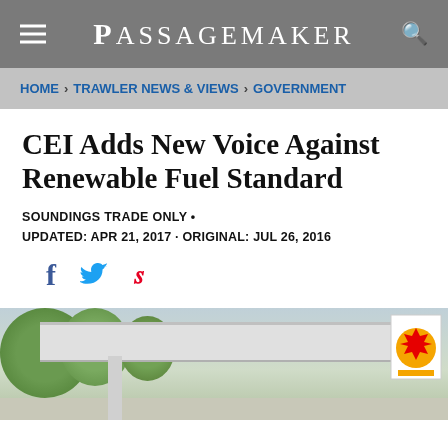PASSAGEMAKER
HOME > TRAWLER NEWS & VIEWS > GOVERNMENT
CEI Adds New Voice Against Renewable Fuel Standard
SOUNDINGS TRADE ONLY •
UPDATED: APR 21, 2017 · ORIGINAL: JUL 26, 2016
[Figure (photo): Gas station canopy with trees and Shell sign visible at right edge]